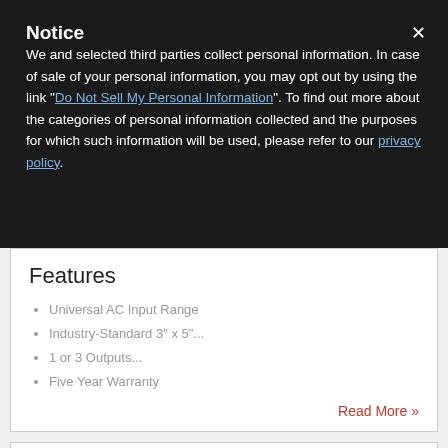Notice
We and selected third parties collect personal information. In case of sale of your personal information, you may opt out by using the link "Do Not Sell My Personal Information". To find out more about the categories of personal information collected and the purposes for which such information will be used, please refer to our privacy policy.
Features
Universal AC Input Range
Industry-Standard 3" x 5"...
1 or 3 Outputs...
Five Year Warranty
Read More »
70 Watt DC-DC Converters – DCMOD® AL 070D Series...